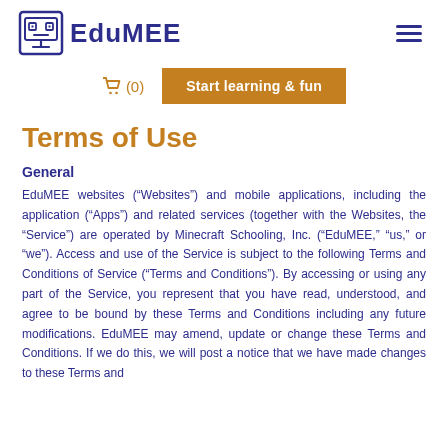EduMEE
(0)  Start learning & fun
Terms of Use
General
EduMEE websites (“Websites”) and mobile applications, including the application (“Apps”) and related services (together with the Websites, the “Service”) are operated by Minecraft Schooling, Inc. (“EduMEE,” “us,” or “we”). Access and use of the Service is subject to the following Terms and Conditions of Service (“Terms and Conditions”). By accessing or using any part of the Service, you represent that you have read, understood, and agree to be bound by these Terms and Conditions including any future modifications. EduMEE may amend, update or change these Terms and Conditions. If we do this, we will post a notice that we have made changes to these Terms and